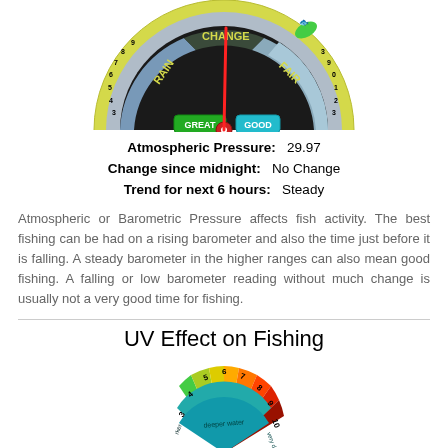[Figure (infographic): Fishing Barometer gauge showing atmospheric pressure at 29.97, with needle pointing between GREAT and GOOD zones, labeled with RAIN, CHANGE, FAIR sections and numbered scale]
Atmospheric Pressure:  29.97
Change since midnight:  No Change
Trend for next 6 hours:  Steady
Atmospheric or Barometric Pressure affects fish activity. The best fishing can be had on a rising barometer and also the time just before it is falling. A steady barometer in the higher ranges can also mean good fishing. A falling or low barometer reading without much change is usually not a very good time for fishing.
UV Effect on Fishing
[Figure (infographic): UV Effect on Fishing semicircular gauge with colored segments from green/yellow (low) through orange to red (high), numbered 3-10+, with labels 'deeper water' and 'very d...']